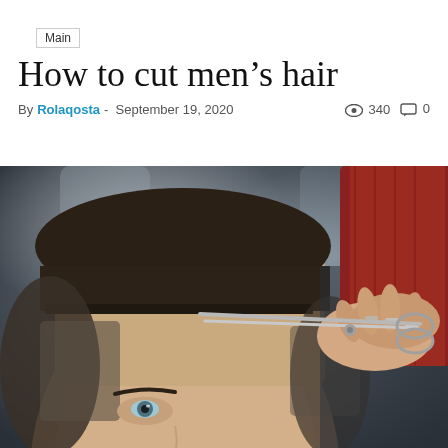Main
How to cut men's hair
By Rolaqosta - September 19, 2020   340  0
[Figure (photo): Close-up photo of a man getting his hair cut, with a barber's hand holding scissors near his forehead. The man has short dark hair with a fade cut. The background is blurred.]